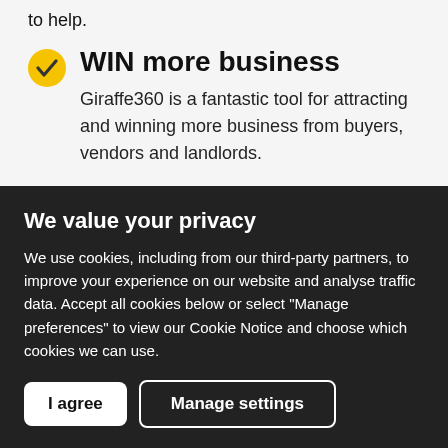to help.
WIN more business
Giraffe360 is a fantastic tool for attracting and winning more business from buyers, vendors and landlords.
Wide-angle photography
[Figure (photo): Partial view of a wide-angle photography image strip, mostly grey/silver tones]
We value your privacy
We use cookies, including from our third-party partners, to improve your experience on our website and analyse traffic data. Accept all cookies below or select "Manage preferences" to view our Cookie Notice and choose which cookies we can use.
I agree
Manage settings